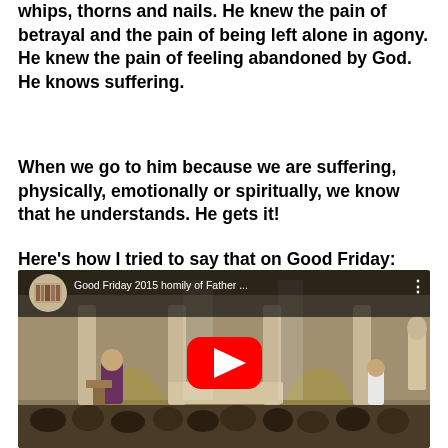whips, thorns and nails. He knew the pain of betrayal and the pain of being left alone in agony. He knew the pain of feeling abandoned by God. He knows suffering.
When we go to him because we are suffering, physically, emotionally or spiritually, we know that he understands. He gets it!
Here's how I tried to say that on Good Friday:
[Figure (screenshot): YouTube video thumbnail showing a church interior with people seated in pews. A priest in purple vestments stands at the altar. The video title reads 'Good Friday 2015 homily of Father ...' with a YouTube play button overlay.]